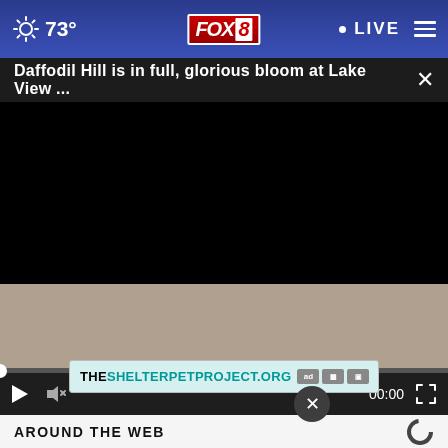73° FOX 8 LIVE
Daffodil Hill is in full, glorious bloom at Lake View ...
[Figure (screenshot): Black video player area, loading/paused state with progress bar at 0:00]
AROUND THE WEB
[Figure (screenshot): Advertisement banner: THESHELTERPETPROJECT.ORG with ad choice icons]